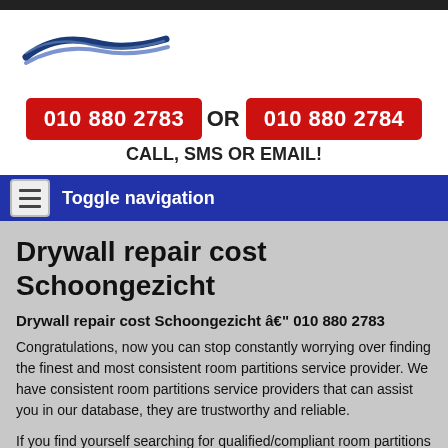[Figure (logo): Blue swoosh/wave logo graphic in top left]
010 880 2783 OR 010 880 2784
CALL, SMS OR EMAIL!
Toggle navigation
Drywall repair cost Schoongezicht
Drywall repair cost Schoongezicht â€" 010 880 2783
Congratulations, now you can stop constantly worrying over finding the finest and most consistent room partitions service provider. We have consistent room partitions service providers that can assist you in our database, they are trustworthy and reliable.
If you find yourself searching for qualified/compliant room partitions companies then you have found the right place. Our firm will be able to